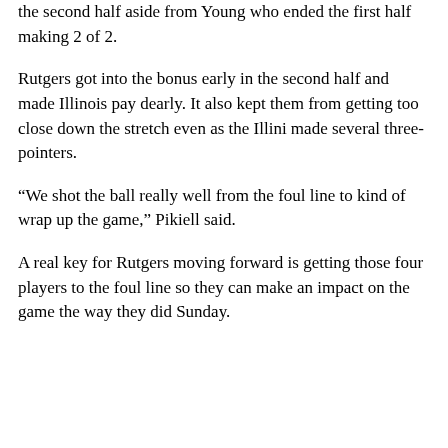the second half aside from Young who ended the first half making 2 of 2.
Rutgers got into the bonus early in the second half and made Illinois pay dearly. It also kept them from getting too close down the stretch even as the Illini made several three-pointers.
“We shot the ball really well from the foul line to kind of wrap up the game,” Pikiell said.
A real key for Rutgers moving forward is getting those four players to the foul line so they can make an impact on the game the way they did Sunday.